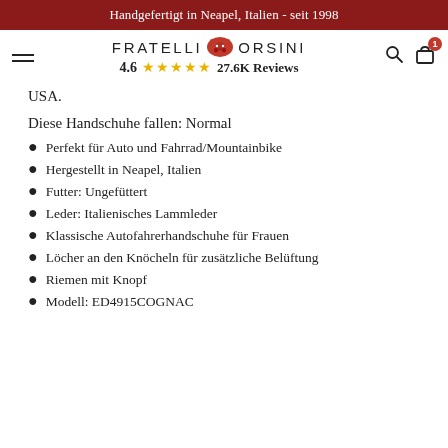Handgefertigt in Neapel, Italien - seit 1998
[Figure (logo): Fratelli Orsini logo with bear icon and 4.6 star rating, 27.6K Reviews]
USA.
Diese Handschuhe fallen: Normal
Perfekt für Auto und Fahrrad/Mountainbike
Hergestellt in Neapel, Italien
Futter: Ungefüttert
Leder: Italienisches Lammleder
Klassische Autofahrerhandschuhe für Frauen
Löcher an den Knöcheln für zusätzliche Belüftung
Riemen mit Knopf
Modell: ED4915COGNAC